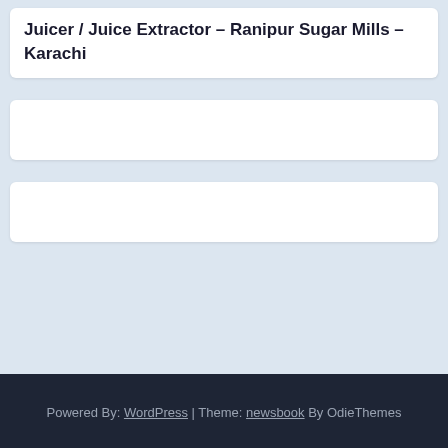Juicer / Juice Extractor – Ranipur Sugar Mills – Karachi
Powered By: WordPress | Theme: newsbook By OdieThemes